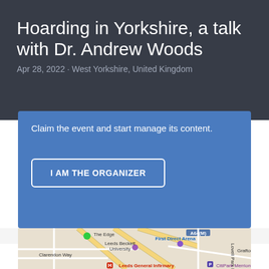Hoarding in Yorkshire, a talk with Dr. Andrew Woods
Apr 28, 2022 · West Yorkshire, United Kingdom
Claim the event and start manage its content.
I AM THE ORGANIZER
[Figure (map): Google Maps view of Leeds city centre area showing The Edge, Leeds Beckett University, First Direct Arena, Leeds General Infirmary, CitiPark Merrion Centre, Clarendon Way, Lovell Park Rd, Grafton St, and A64(M) motorway.]